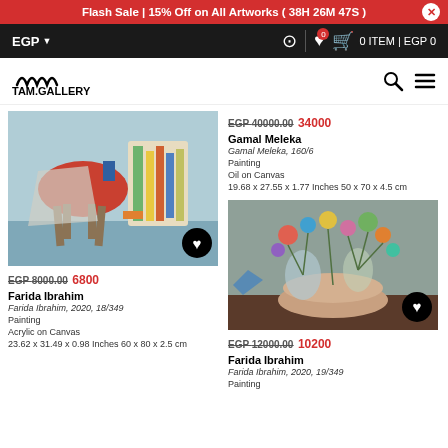Flash Sale | 15% Off on All Artworks ( 38H 26M 47S )
EGP | 0 ITEM | EGP 0
[Figure (logo): TAM.GALLERY logo with wave symbol]
EGP 40000.00 34000
Gamal Meleka
Gamal Meleka, 160/6
Painting
Oil on Canvas
19.68 x 27.55 x 1.77 Inches 50 x 70 x 4.5 cm
[Figure (photo): Abstract painting of a red chair and colorful vase on blue background by Farida Ibrahim]
EGP 8000.00 6800
Farida Ibrahim
Farida Ibrahim, 2020, 18/349
Painting
Acrylic on Canvas
23.62 x 31.49 x 0.98 Inches 60 x 80 x 2.5 cm
[Figure (photo): Abstract floral painting with colorful flowers in bowl/vases on dark background]
EGP 12000.00 10200
Farida Ibrahim
Farida Ibrahim, 2020, 19/349
Painting